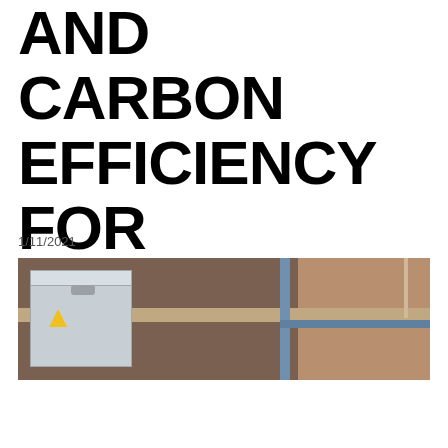AND CARBON EFFICIENCY FOR THE RAIL INDUSTRY
1/11/2021
[Figure (photo): A grey electrical cabinet or enclosure mounted outdoors against a brick/stone wall, with a warning label visible on its front. A vertical pipe and horizontal pipe run along the wall to the right of the cabinet. The wall background is weathered brick/stone.]